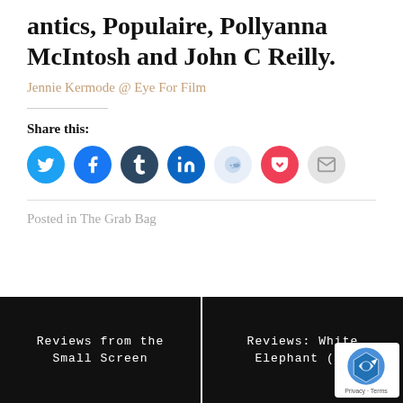antics, Populaire, Pollyanna McIntosh and John C Reilly.
Jennie Kermode @ Eye For Film
Share this:
[Figure (infographic): Social sharing icon buttons: Twitter (blue), Facebook (blue), Tumblr (dark blue), LinkedIn (blue), Reddit (light blue), Pocket (red), Email (grey)]
Posted in The Grab Bag
Reviews from the Small Screen
Reviews: White Elephant (20